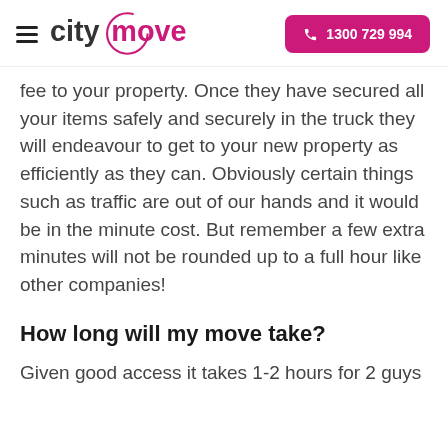citymove | 1300 729 994
fee to your property. Once they have secured all your items safely and securely in the truck they will endeavour to get to your new property as efficiently as they can. Obviously certain things such as traffic are out of our hands and it would be in the minute cost. But remember a few extra minutes will not be rounded up to a full hour like other companies!
How long will my move take?
Given good access it takes 1-2 hours for 2 guys